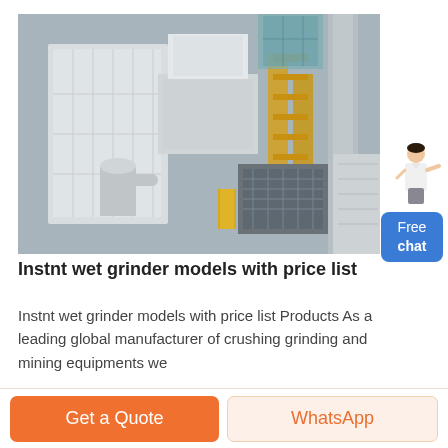[Figure (photo): Aerial/elevated view of an industrial facility with large white machinery, yellow scaffolding structures, pipes, and processing equipment — appears to be a mining or grinding plant.]
Instnt wet grinder models with price list
Instnt wet grinder models with price list Products As a leading global manufacturer of crushing grinding and mining equipments we
[Figure (illustration): Small illustration of a female customer service representative pointing, next to a blue 'Free chat' button.]
Get a Quote
WhatsApp